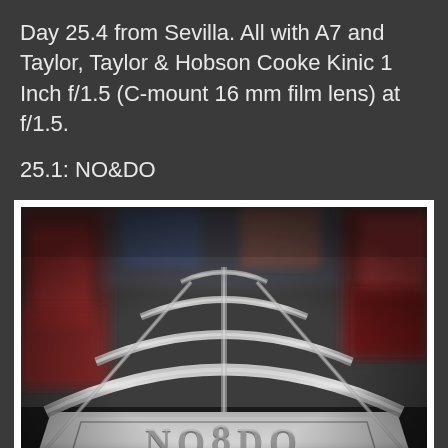Day 25.4 from Sevilla. All with A7 and Taylor, Taylor & Hobson Cooke Kinic 1 Inch f/1.5 (C-mount 16 mm film lens) at f/1.5.
25.1: NO&DO
[Figure (photo): Close-up photograph of a metallic sign or ornament reading 'NO8DO' taken from a low angle. The metallic curved bars and chrome/steel surface dominate the foreground with a blurred background showing colorful items. Shot with shallow depth of field.]